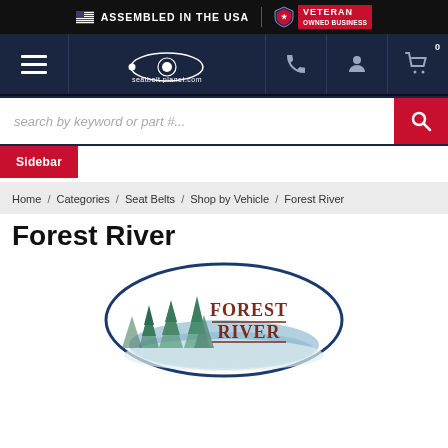ASSEMBLED IN THE USA | VETERAN OWNED BUSINESS
[Figure (screenshot): Website navigation bar for seatbeltplanet.com with hamburger menu, logo, phone icon, account icon, and cart icon on dark navy background]
search by keyword or part #...
Sidebar
Home / Categories / Seat Belts / Shop by Vehicle / Forest River
Forest River
[Figure (logo): Forest River brand logo — oval shape with green pine trees illustration and 'Forest River' text in brown serif letters]